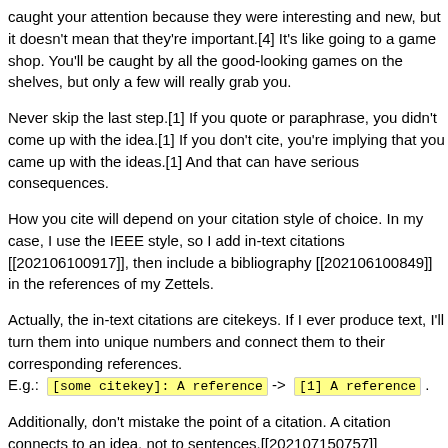caught your attention because they were interesting and new, but it doesn't mean that they're important.[4] It's like going to a game shop. You'll be caught by all the good-looking games on the shelves, but only a few will really grab you.
Never skip the last step.[1] If you quote or paraphrase, you didn't come up with the idea.[1] If you don't cite, you're implying that you came up with the ideas.[1] And that can have serious consequences.
How you cite will depend on your citation style of choice. In my case, I use the IEEE style, so I add in-text citations [[202106100917]], then include a bibliography [[202106100849]] in the references of my Zettels.
Actually, the in-text citations are citekeys. If I ever produce text, I'll turn them into unique numbers and connect them to their corresponding references. E.g.: [some citekey]: A reference -> [1] A reference .
Additionally, don't mistake the point of a citation. A citation connects to an idea, not to sentences.[[202107150757]]
References:
[1]: taurusnoises, “Re: how can I write zettel notes in my own words?,” Zettelkasten Forum, Oct. 04, 2021.